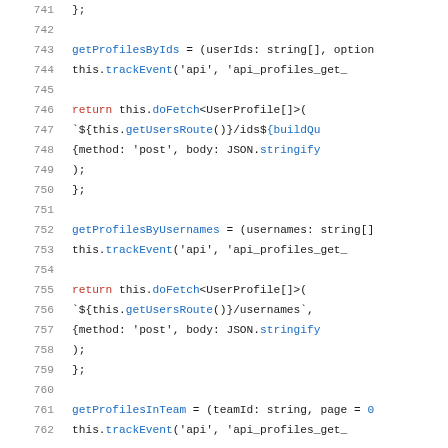Code listing lines 741-762 showing TypeScript API methods: getProfilesByIds, getProfilesByUsernames, getProfilesInTeam